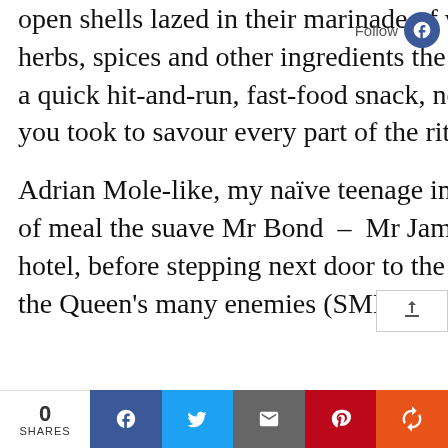open shells lazed in their marinade of white wine, cream, butter, onions, herbs, spices and other ingredients the chef might throw in. This was not a quick hit-and-run, fast-food snack, nor one to be rushed. The longer you took to savour every part of the ritual, the more pleasurable it was.
Adrian Mole-like, my naïve teenage imagination viewed this as the kind of meal the suave Mr Bond – Mr James Bond – might eat in his posh hotel, before stepping next door to the casino, there to vanquish one of the Queen's many enemies (SMERSH, SPECTRE or some other villain).
0 SHARES | Facebook | Twitter | Email | Pinterest | +